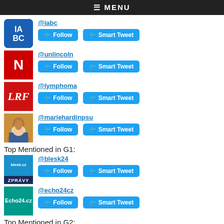≡ MENU
@iabc
@unlincoln
@lymphoma
@mariehardinpsu
Top Mentioned in G1:
@blesk24
@echo24cz
Top Mentioned in G2: